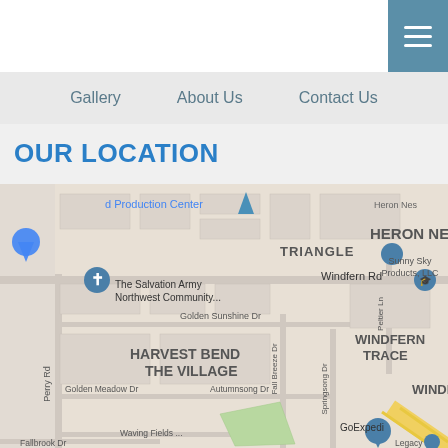Gallery  About Us  Contact Us
OUR LOCATION
[Figure (map): Google Maps screenshot showing neighborhoods including Triangle, Ferndale Estates, Heron Nest, Harvest Bend The Village, Windfern Trace, Windfern Park. Streets visible include Windfern Rd, Perry Rd, Golden Sunshine Dr, Fall Breeze Dr, Springsong Dr, Autumnsong Dr, Golden Meadow Dr, Waving Fields Dr, Fallbrook Dr. Landmarks include The Salvation Army Northwest Community, Sunny Sky Products LLC, GoExpedi. Map pins visible.]